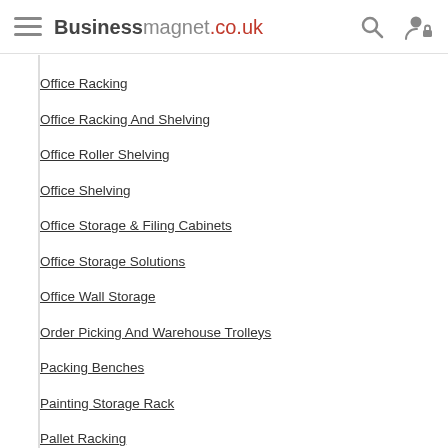Businessmagnet.co.uk
Office Racking
Office Racking And Shelving
Office Roller Shelving
Office Shelving
Office Storage & Filing Cabinets
Office Storage Solutions
Office Wall Storage
Order Picking And Warehouse Trolleys
Packing Benches
Painting Storage Rack
Pallet Racking
Pallet Racking & Accessories
Pallet Racking And Shelving
Pallet Racking Companies
Pallet Racking Distributor
Pallet Racking Manufacturers